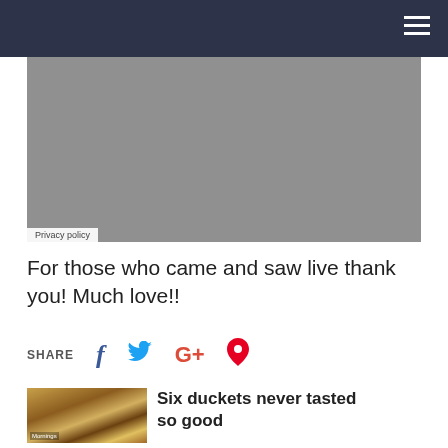[Figure (photo): Gray placeholder image area with Privacy policy badge at bottom left]
For those who came and saw live thank you! Much love!!
SHARE
[Figure (photo): Burger food photo thumbnail for related article]
Six duckets never tasted so good